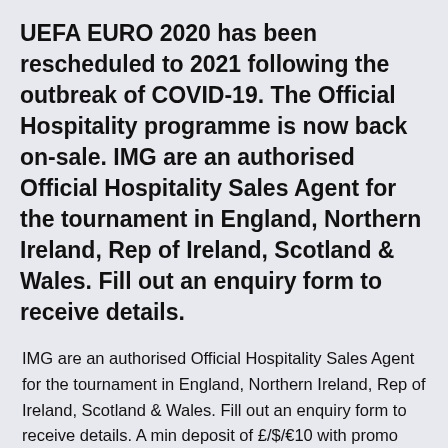UEFA EURO 2020 has been rescheduled to 2021 following the outbreak of COVID-19. The Official Hospitality programme is now back on-sale. IMG are an authorised Official Hospitality Sales Agent for the tournament in England, Northern Ireland, Rep of Ireland, Scotland & Wales. Fill out an enquiry form to receive details.
IMG are an authorised Official Hospitality Sales Agent for the tournament in England, Northern Ireland, Rep of Ireland, Scotland & Wales. Fill out an enquiry form to receive details. A min deposit of £/$/€10 with promo code is required – You must bet a min of £/$/€10 at